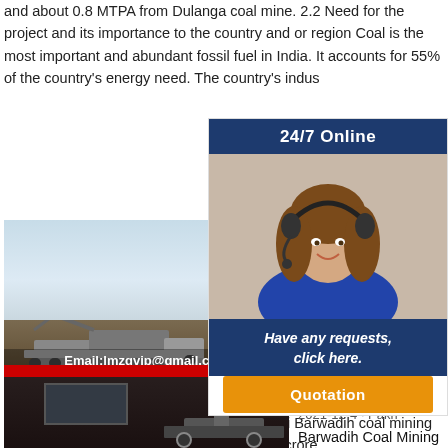and about 0.8 MTPA from Dulanga coal mine. 2.2 Need for the project and its importance to the country and or region Coal is the most important and abundant fossil fuel in India. It accounts for 55% of the country's energy need. The country's indus...
[Figure (photo): Coal mining machinery at a coal mine site with black coal piles. Email:lmzgvip@gmail.com watermark visible. LIMING-HEAVY INDUSTRY text.]
Shr... BTL... dive... ren... 2021... com... secu... setting up of the coal handling plant for Pakri Barwadih coal mining project from NTPC at a job value of Rs 317 crore.
[Figure (infographic): 24/7 Online advertisement with a woman wearing a headset. Has a blue header '24/7 Online', photo of customer service agent, blue section 'Have any requests, click here.' and an orange Quotation button.]
[Figure (photo): Dark industrial building with red stripe at top, with mining machinery at bottom right.]
NTPC Admit Card
2021-12-4 · Pakri Barwadih Coal Mining